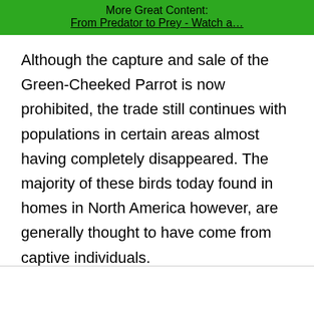More Great Content:
From Predator to Prey - Watch a…
Although the capture and sale of the Green-Cheeked Parrot is now prohibited, the trade still continues with populations in certain areas almost having completely disappeared. The majority of these birds today found in homes in North America however, are generally thought to have come from captive individuals.